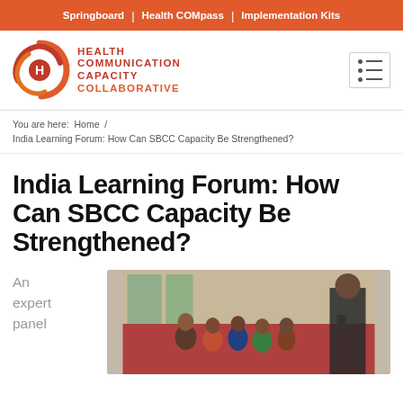Springboard | Health COMpass | Implementation Kits
[Figure (logo): Health Communication Capacity Collaborative logo with swirl icon and text]
You are here: Home / India Learning Forum: How Can SBCC Capacity Be Strengthened?
India Learning Forum: How Can SBCC Capacity Be Strengthened?
An expert panel
[Figure (photo): A group of women sitting in a room, one person standing on the right]